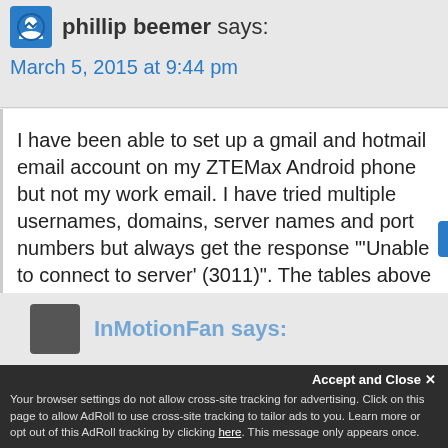phillip beemer says:
March 5, 2015 at 9:44 pm
I have been able to set up a gmail and hotmail email account on my ZTEMax Android phone but not my work email. I have tried multiple usernames, domains, server names and port numbers but always get the response "'Unable to connect to server' (3011)". The tables above were very helpful but I keep getting this response. Any suggestions?
Reply
InMotionFan says:
Accept and Close
Your browser settings do not allow cross-site tracking for advertising. Click on this page to allow AdRoll to use cross-site tracking to tailor ads to you. Learn more or opt out of this AdRoll tracking by clicking here. This message only appears once.